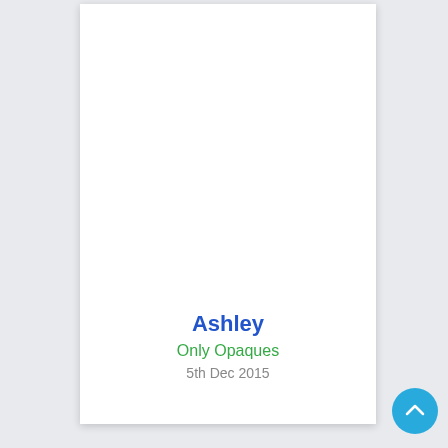Ashley
Only Opaques
5th Dec 2015